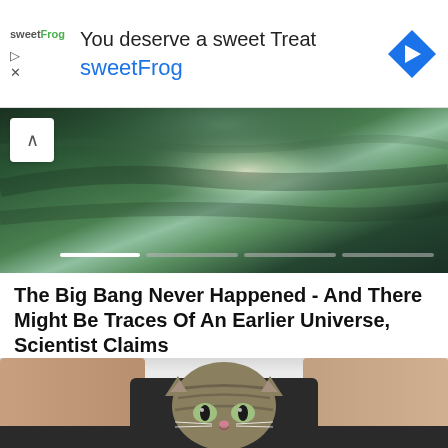[Figure (other): Advertisement banner for sweetFrog frozen yogurt: 'You deserve a sweet Treat' with sweetFrog logo and blue navigation arrow icon]
[Figure (photo): Space or nature panoramic photo showing a bright light source in a dark green/blue background with a progress indicator carousel]
The Big Bang Never Happened - And There Might Be Traces Of An Earlier Universe, Scientist Claims
The Space Academy
[Figure (photo): Photo of a tabby cat sitting between a person's legs, looking directly at the camera]